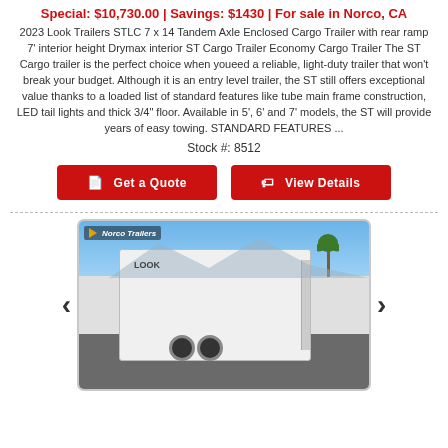Special: $10,730.00 | Savings: $1430 | For sale in Norco, CA
2023 Look Trailers STLC 7 x 14 Tandem Axle Enclosed Cargo Trailer with rear ramp 7' interior height Drymax interior ST Cargo Trailer Economy Cargo Trailer The ST Cargo trailer is the perfect choice when youeed a reliable, light-duty trailer that won't break your budget. Although it is an entry level trailer, the ST still offers exceptional value thanks to a loaded list of standard features like tube main frame construction, LED tail lights and thick 3/4" floor. Available in 5', 6' and 7' models, the ST will provide years of easy towing. STANDARD FEATURES ...
Stock #: 8512
Get a Quote
View Details
[Figure (photo): Photo of a white enclosed cargo trailer (2023 Look Trailers STLC) in a parking lot with palm trees and mountains in the background. The trailer has dual axles and a rear ramp. A 'Norco Trailers' logo overlay appears in the top-left corner of the photo.]